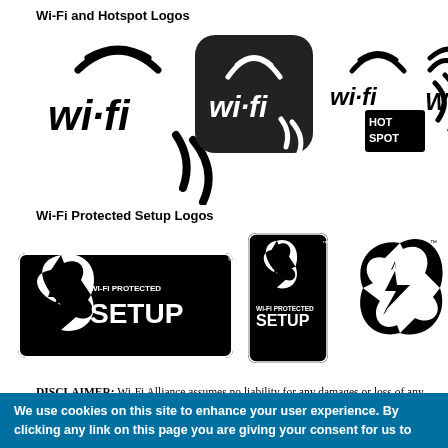Wi-Fi and Hotspot Logos
[Figure (logo): Four Wi-Fi and Hotspot logos: standard wi-fi wordmark, wi-fi app icon on black rounded square, Wi-Fi Hotspot badge, and partial wi-fi logo on right edge]
Wi-Fi Protected Setup Logos
[Figure (logo): Three Wi-Fi Protected Setup logos: horizontal badge with text, vertical badge with text, and icon-only circular arrows logo]
DISCLAIMER: Wi-Fi Alliance assumes no liability for any damages or loss of any kind that might arise from the use or misuse of the logo. Wi-Fi Alliance gives no warranty of any kind -- implied, expressed, or statutory -- including but not limited to warranties of title, merchantability, fitness for a particular purpose, or non-
We use cookies on this site to enhance your user experience. By clicking any link on this page you are giving your consent for us to